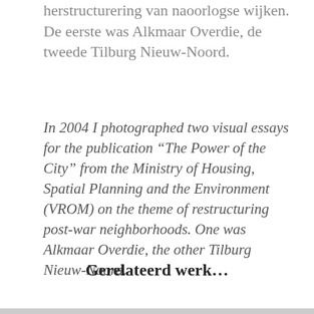herstructurering van naoorlogse wijken. De eerste was Alkmaar Overdie, de tweede Tilburg Nieuw-Noord.
In 2004 I photographed two visual essays for the publication “The Power of the City” from the Ministry of Housing, Spatial Planning and the Environment (VROM) on the theme of restructuring post-war neighborhoods. One was Alkmaar Overdie, the other Tilburg Nieuw-Noord.
Gerelateerd werk…